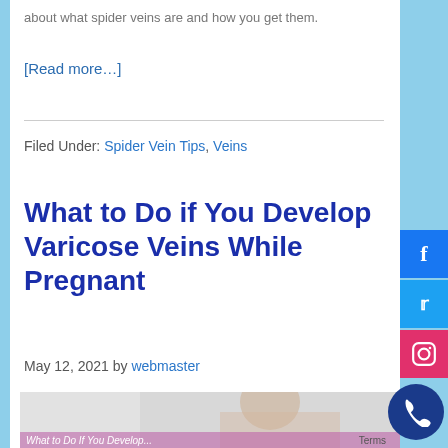about what spider veins are and how you get them.
[Read more…]
Filed Under: Spider Vein Tips, Veins
What to Do if You Develop Varicose Veins While Pregnant
May 12, 2021 by webmaster
[Figure (photo): Woman looking downward, article image for varicose veins during pregnancy post]